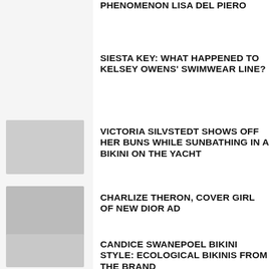PHENOMENON LISA DEL PIERO
SIESTA KEY: WHAT HAPPENED TO KELSEY OWENS' SWIMWEAR LINE?
VICTORIA SILVSTEDT SHOWS OFF HER BUNS WHILE SUNBATHING IN A BIKINI ON THE YACHT
CHARLIZE THERON, COVER GIRL OF NEW DIOR AD
CANDICE SWANEPOEL BIKINI STYLE: ECOLOGICAL BIKINIS FROM THE BRAND